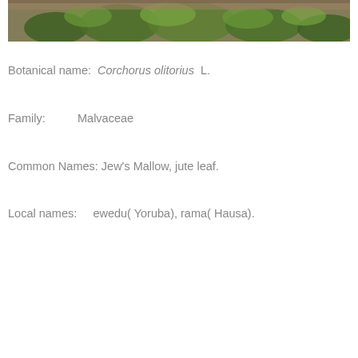[Figure (photo): Photograph of Corchorus olitorius plant with green leaves, partially visible at top of page]
Botanical name:  Corchorus olitorius  L.
Family:         Malvaceae
Common Names: Jew's Mallow, jute leaf.
Local names:     ewedu( Yoruba), rama( Hausa).